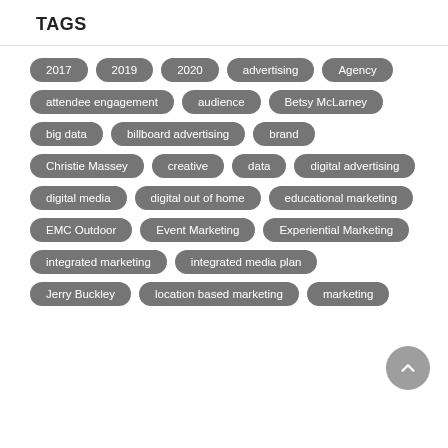TAGS
2017
2019
2020
advertising
Agency
attendee engagement
audience
Betsy McLarney
big data
billboard advertising
brand
Christie Massey
creative
data
digital advertising
digital media
digital out of home
educational marketing
EMC Outdoor
Event Marketing
Experiential Marketing
integrated marketing
integrated media plan
Jerry Buckley
location based marketing
marketing